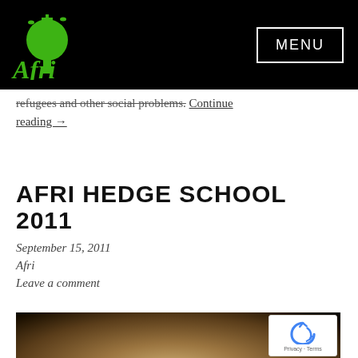Afri [logo] | MENU
refugees and other social problems. Continue reading →
AFRI HEDGE SCHOOL 2011
September 15, 2011
Afri
Leave a comment
[Figure (photo): Photo of a cracked, dried earth globe against a black background]